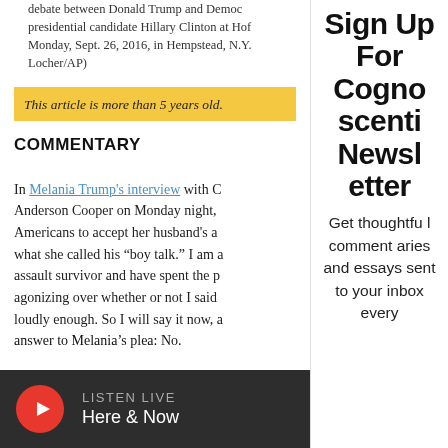debate between Donald Trump and Democratic presidential candidate Hillary Clinton at Hofstra Monday, Sept. 26, 2016, in Hempstead, N.Y. Locher/AP)
This article is more than 5 years old.
COMMENTARY
In Melania Trump's interview with CNN's Anderson Cooper on Monday night, ... Americans to accept her husband's ... what she called his "boy talk." I am a ... assault survivor and have spent the p... agonizing over whether or not I said ... loudly enough. So I will say it now, a... answer to Melania's plea: No.
LISTEN LIVE Here & Now
Sign Up For Cognoscenti Newsletter
Get thoughtful commentaries and essays sent to your inbox every